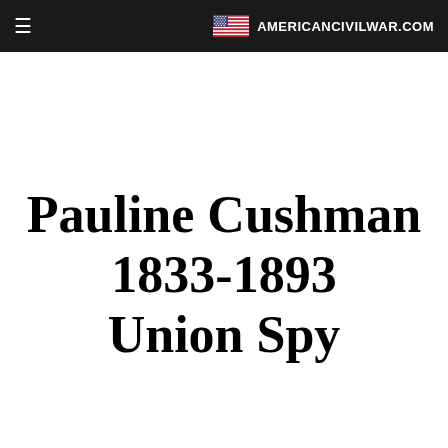≡  AMERICANCIVILWAR.COM
Pauline Cushman 1833-1893 Union Spy